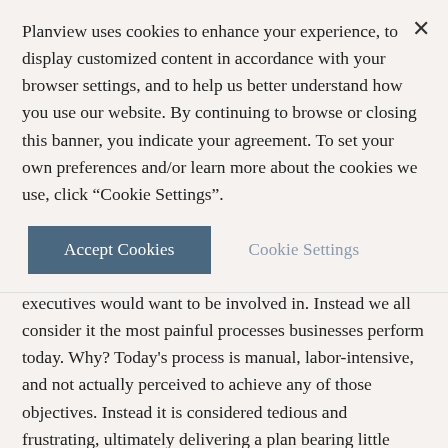Planview uses cookies to enhance your experience, to display customized content in accordance with your browser settings, and to help us better understand how you use our website. By continuing to browse or closing this banner, you indicate your agreement. To set your own preferences and/or learn more about the cookies we use, click "Cookie Settings".
Accept Cookies
Cookie Settings
executives would want to be involved in. Instead we all consider it the most painful processes businesses perform today. Why? Today's process is manual, labor-intensive, and not actually perceived to achieve any of those objectives. Instead it is considered tedious and frustrating, ultimately delivering a plan bearing little resemblance to current business realities. “Data confirms what many finance professionals know about the prevalent capital planning process — it is broken and needs to be fixed.”1